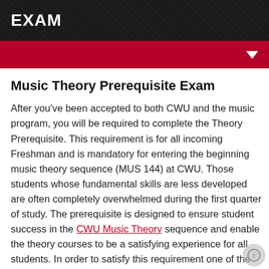EXAM
Music Theory Prerequisite Exam
After you've been accepted to both CWU and the music program, you will be required to complete the Theory Prerequisite. This requirement is for all incoming Freshman and is mandatory for entering the beginning music theory sequence (MUS 144) at CWU. Those students whose fundamental skills are less developed are often completely overwhelmed during the first quarter of study. The prerequisite is designed to ensure student success in the CWU Music Theory sequence and enable the theory courses to be a satisfying experience for all students. In order to satisfy this requirement one of the following must be met: